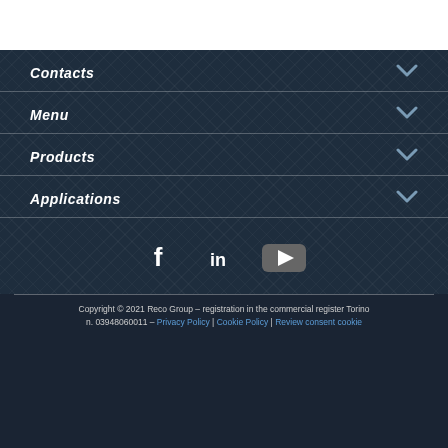Contacts
Menu
Products
Applications
[Figure (other): Social media icons: Facebook (f), LinkedIn (in), YouTube (play button)]
Copyright © 2021 Reco Group – registration in the commercial register Torino n. 03948060011 – Privacy Policy | Cookie Policy | Review consent cookie